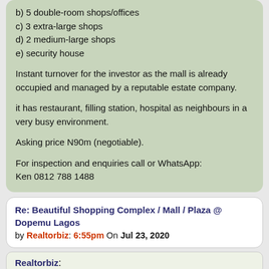b) 5 double-room shops/offices
c) 3 extra-large shops
d) 2 medium-large shops
e) security house
Instant turnover for the investor as the mall is already occupied and managed by a reputable estate company.
it has restaurant, filling station, hospital as neighbours in a very busy environment.
Asking price N90m (negotiable).
For inspection and enquiries call or WhatsApp:
Ken 0812 788 1488
Re: Beautiful Shopping Complex / Mall / Plaza @ Dopemu Lagos by Realtorbiz: 6:55pm On Jul 23, 2020
Realtorbiz: